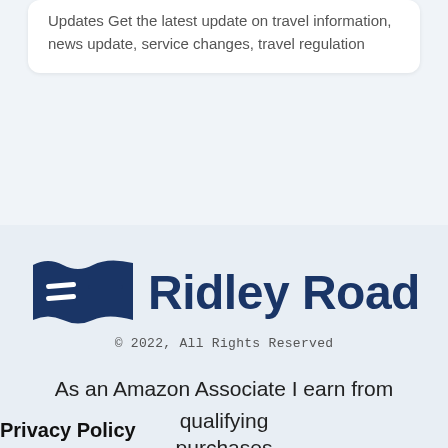Updates Get the latest update on travel information, news update, service changes, travel regulation
[Figure (logo): Ridley Road logo with dark blue wave/flag icon and bold text 'Ridley Road']
© 2022, All Rights Reserved
As an Amazon Associate I earn from qualifying purchases
Privacy Policy